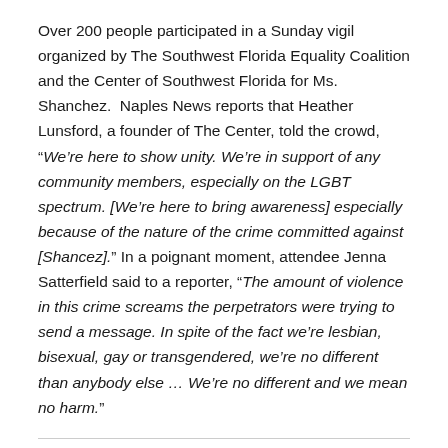Over 200 people participated in a Sunday vigil organized by The Southwest Florida Equality Coalition and the Center of Southwest Florida for Ms. Shanchez.  Naples News reports that Heather Lunsford, a founder of The Center, told the crowd, “We’re here to show unity. We’re in support of any community members, especially on the LGBT spectrum. [We’re here to bring awareness] especially because of the nature of the crime committed against [Shancez].” In a poignant moment, attendee Jenna Satterfield said to a reporter, “The amount of violence in this crime screams the perpetrators were trying to send a message. In spite of the fact we’re lesbian, bisexual, gay or transgendered, we’re no different than anybody else … We’re no different and we mean no harm.”
Share this: